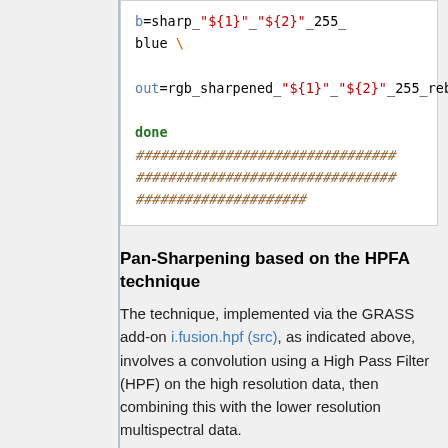b=sharp_"${1}"_"${2}"_255_blue \

out=rgb_sharpened_"${1}"_"${2}"_255_rebalanced

done
################################
################################
#####################
Pan-Sharpening based on the HPFA technique
The technique, implemented via the GRASS add-on i.fusion.hpf (src), as indicated above, involves a convolution using a High Pass Filter (HPF) on the high resolution data, then combining this with the lower resolution multispectral data.